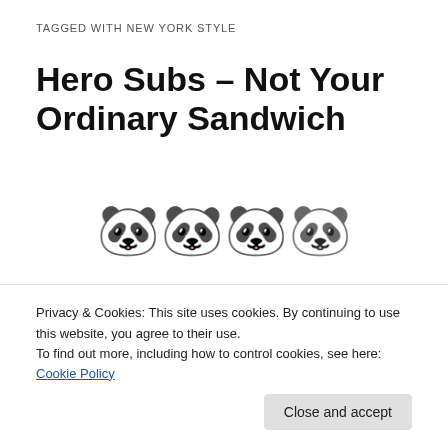TAGGED WITH NEW YORK STYLE
Hero Subs – Not Your Ordinary Sandwich
[Figure (illustration): Four panda bear emoji icons in a row]
[Figure (photo): Three photos of a Hero Subs restaurant: red lit interior with X logo, interior counter with menu boards and staff, wooden counter surface]
Privacy & Cookies: This site uses cookies. By continuing to use this website, you agree to their use.
To find out more, including how to control cookies, see here: Cookie Policy
Close and accept